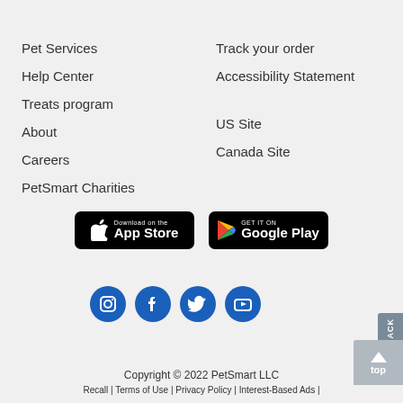Pet Services
Help Center
Treats program
About
Careers
PetSmart Charities
Track your order
Accessibility Statement
US Site
Canada Site
[Figure (logo): Download on the App Store badge]
[Figure (logo): Get it on Google Play badge]
[Figure (logo): Social media icons: Instagram, Facebook, Twitter, YouTube]
Copyright © 2022 PetSmart LLC
Recall | Terms of Use | Privacy Policy | Interest-Based Ads |